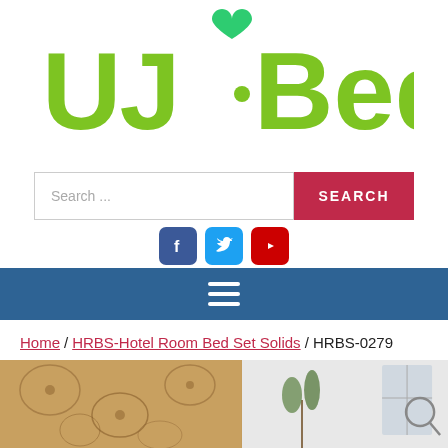[Figure (logo): UJ Bedding logo with green stylized text and a green heart above, on white background]
[Figure (screenshot): Search bar with placeholder 'Search ...' and a red SEARCH button]
[Figure (screenshot): Social media icons: Facebook (blue), Twitter (blue), YouTube (red)]
[Figure (screenshot): Dark blue navigation bar with hamburger menu icon]
Home / HRBS-Hotel Room Bed Set Solids / HRBS-0279
[Figure (photo): Partial product image showing hotel bed set with decorative brown/tan patterned fabric on left and gray/white room on right]